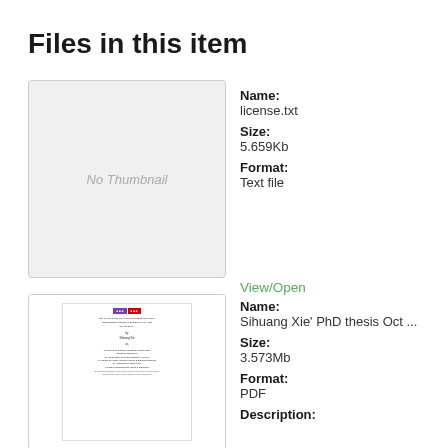Files in this item
[Figure (other): No Thumbnail placeholder image — light grey rectangle with 'No Thumbnail' text]
Name: license.txt
Size: 5.659Kb
Format: Text file
[Figure (other): Thumbnail preview of a PhD thesis document with university logo at top]
View/Open
Name: Sihuang Xie' PhD thesis Oct ...
Size: 3.573Mb
Format: PDF
Description: